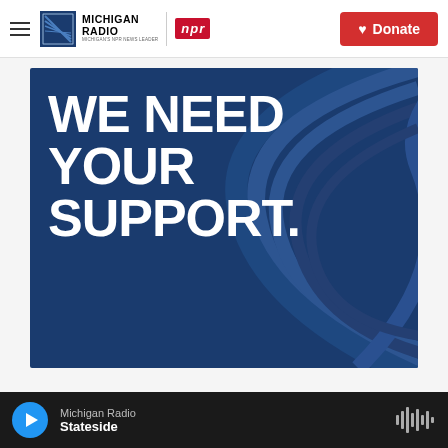Michigan Radio | NPR | Donate
[Figure (illustration): Promotional banner with dark blue background and decorative radio wave arcs, displaying bold white text: WE NEED YOUR SUPPORT.]
Michigan Radio — Stateside (audio player bar with play button and waveform)